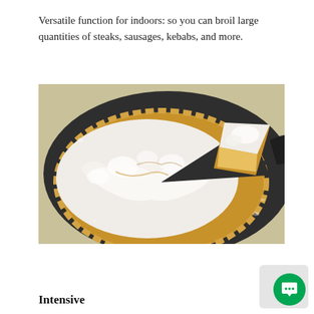Versatile function for indoors: so you can broil large quantities of steaks, sausages, kebabs, and more.
[Figure (photo): A meringue pie on a dark round pan, with one slice being lifted. The pie has fluffy toasted white meringue topping on a golden pastry crust.]
Intensive